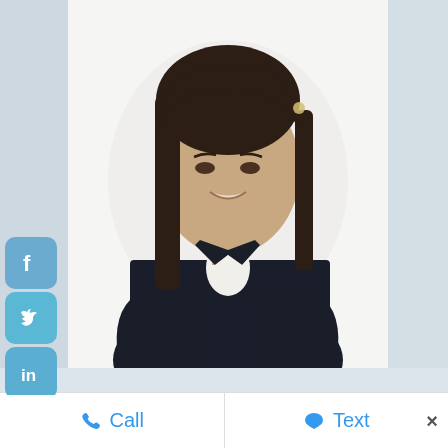[Figure (photo): Professional headshot of Pantea Saba, a woman with long dark brown hair wearing a dark navy blazer over a white top, arms crossed, smiling, against a white background. Social media sharing icons (Facebook, Twitter, LinkedIn, Pinterest, WhatsApp, WeChat, Telegram, Tumblr) are visible on the left side.]
Pantea Saba
Call
Text